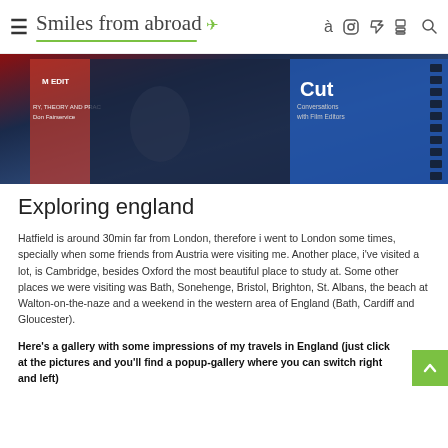≡ Smiles from abroad [plane icon] [facebook] [instagram] [pinterest] [rss] [search]
[Figure (photo): Photo of books including one titled 'Cut: Conversations with Film Editors' against a dark blue background]
Exploring england
Hatfield is around 30min far from London, therefore i went to London some times, specially when some friends from Austria were visiting me. Another place, i've visited a lot, is Cambridge, besides Oxford the most beautiful place to study at. Some other places we were visiting was Bath, Sonehenge, Bristol, Brighton, St. Albans, the beach at Walton-on-the-naze and a weekend in the western area of England (Bath, Cardiff and Gloucester).
Here's a gallery with some impressions of my travels in England (just click at the pictures and you'll find a popup-gallery where you can switch right and left)